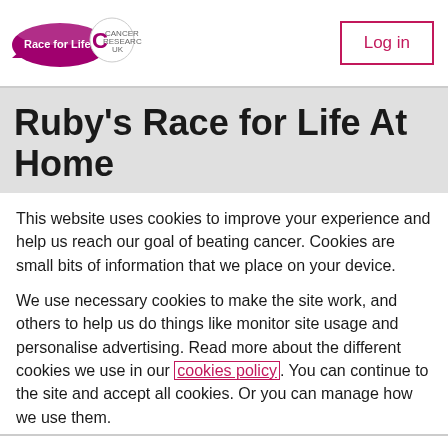Race for Life | Log in
Ruby's Race for Life At Home
This website uses cookies to improve your experience and help us reach our goal of beating cancer. Cookies are small bits of information that we place on your device.
We use necessary cookies to make the site work, and others to help us do things like monitor site usage and personalise advertising. Read more about the different cookies we use in our cookies policy. You can continue to the site and accept all cookies. Or you can manage how we use them.